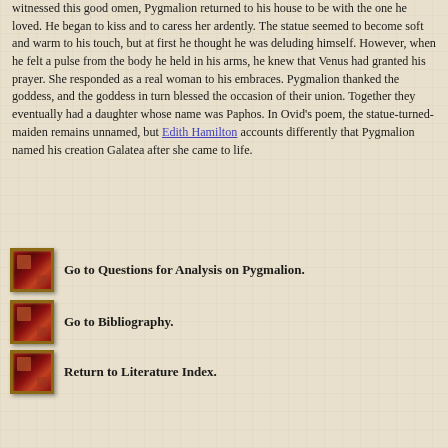witnessed this good omen, Pygmalion returned to his house to be with the one he loved. He began to kiss and to caress her ardently. The statue seemed to become soft and warm to his touch, but at first he thought he was deluding himself. However, when he felt a pulse from the body he held in his arms, he knew that Venus had granted his prayer. She responded as a real woman to his embraces. Pygmalion thanked the goddess, and the goddess in turn blessed the occasion of their union. Together they eventually had a daughter whose name was Paphos. In Ovid's poem, the statue-turned-maiden remains unnamed, but Edith Hamilton accounts differently that Pygmalion named his creation Galatea after she came to life.
Go to Questions for Analysis on Pygmalion.
Go to Bibliography.
Return to Literature Index.